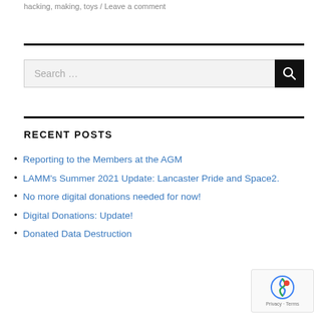hacking, making, toys / Leave a comment
Search …
RECENT POSTS
Reporting to the Members at the AGM
LAMM's Summer 2021 Update: Lancaster Pride and Space2.
No more digital donations needed for now!
Digital Donations: Update!
Donated Data Destruction